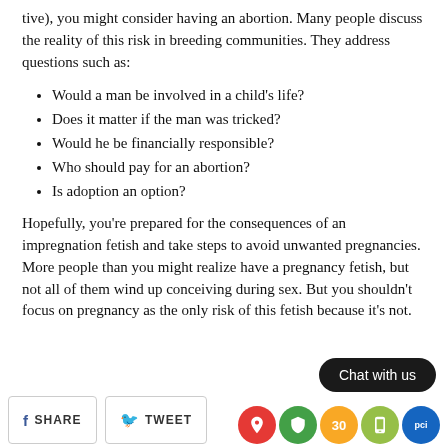tive), you might consider having an abortion. Many people discuss the reality of this risk in breeding communities. They address questions such as:
Would a man be involved in a child's life?
Does it matter if the man was tricked?
Would he be financially responsible?
Who should pay for an abortion?
Is adoption an option?
Hopefully, you're prepared for the consequences of an impregnation fetish and take steps to avoid unwanted pregnancies. More people than you might realize have a pregnancy fetish, but not all of them wind up conceiving during sex. But you shouldn't focus on pregnancy as the only risk of this fetish because it's not.